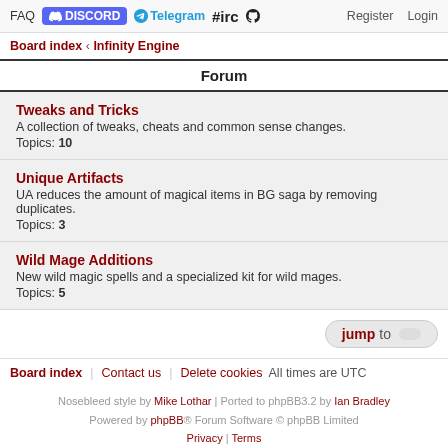FAQ | DISCORD | Telegram | #irc | Register | Login
Board index ‹ Infinity Engine
Forum
Tweaks and Tricks
A collection of tweaks, cheats and common sense changes.
Topics: 10
Unique Artifacts
UA reduces the amount of magical items in BG saga by removing duplicates.
Topics: 3
Wild Mage Additions
New wild magic spells and a specialized kit for wild mages.
Topics: 5
jump to
Board index | Contact us | Delete cookies | All times are UTC
Nosebleed style by Mike Lothar | Ported to phpBB3.2 by Ian Bradley
Powered by phpBB® Forum Software © phpBB Limited
Privacy | Terms